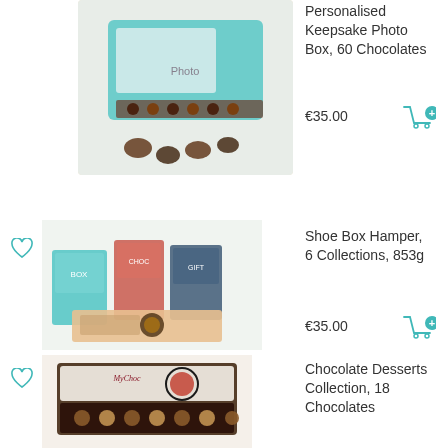[Figure (photo): Personalised Keepsake Photo Box with 60 chocolates in a teal box]
Personalised Keepsake Photo Box, 60 Chocolates
€35.00
[Figure (photo): Shoe Box Hamper with 6 Collections, 853g]
Shoe Box Hamper, 6 Collections, 853g
€35.00
[Figure (photo): Chocolate Desserts Collection box with 18 chocolates]
Chocolate Desserts Collection, 18 Chocolates
€10.00
[Figure (photo): The Ultimate Chocolate Collection box with 48 chocolates]
The Ultimate Chocolate Collection, 48 Chocolates